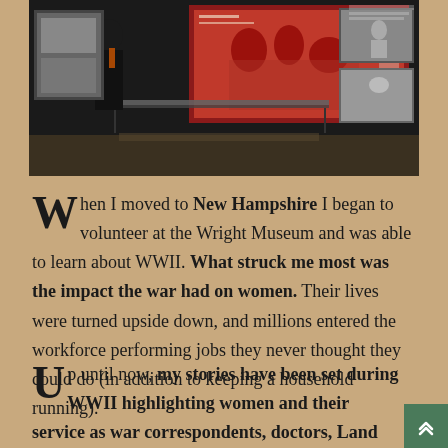[Figure (photo): A museum exhibition hall showing a person in dark clothing standing near display cases, with large red-and-white artwork panels and black-and-white photographs mounted on walls, depicting a WWII museum exhibit.]
When I moved to New Hampshire I began to volunteer at the Wright Museum and was able to learn about WWII. What struck me most was the impact the war had on women. Their lives were turned upside down, and millions entered the workforce performing jobs they never thought they could do (in addition to keeping a household running).
Up until now, my stories have been set during WWII highlighting women and their service as war correspondents, doctors, Land Army workers,